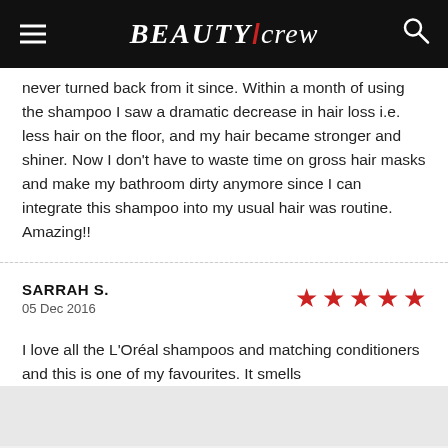BEAUTY/crew
never turned back from it since. Within a month of using the shampoo I saw a dramatic decrease in hair loss i.e. less hair on the floor, and my hair became stronger and shiner. Now I don't have to waste time on gross hair masks and make my bathroom dirty anymore since I can integrate this shampoo into my usual hair was routine. Amazing!!
SARRAH S.
05 Dec 2016
★★★★★ (5 stars)
I love all the L'Oréal shampoos and matching conditioners and this is one of my favourites. It smells